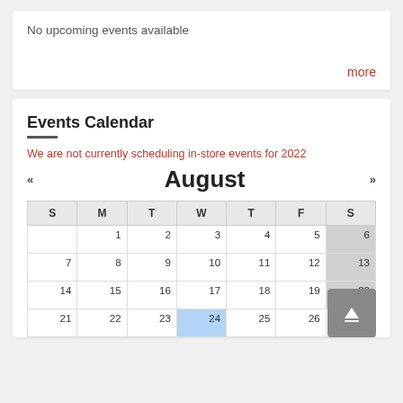No upcoming events available
more
Events Calendar
We are not currently scheduling in-store events for 2022
« August »
| S | M | T | W | T | F | S |
| --- | --- | --- | --- | --- | --- | --- |
|  | 1 | 2 | 3 | 4 | 5 | 6 |
| 7 | 8 | 9 | 10 | 11 | 12 | 13 |
| 14 | 15 | 16 | 17 | 18 | 19 | 20 |
| 21 | 22 | 23 | 24 | 25 | 26 | 27 |